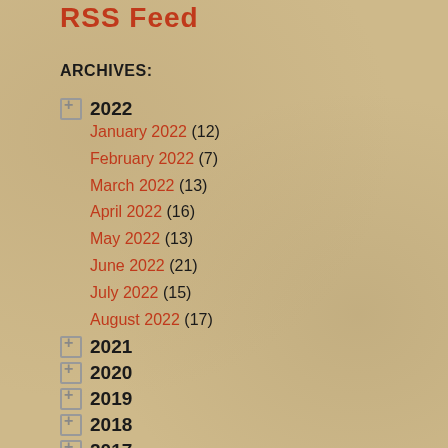RSS Feed
ARCHIVES:
2022
January 2022 (12)
February 2022 (7)
March 2022 (13)
April 2022 (16)
May 2022 (13)
June 2022 (21)
July 2022 (15)
August 2022 (17)
2021
2020
2019
2018
2017
2016